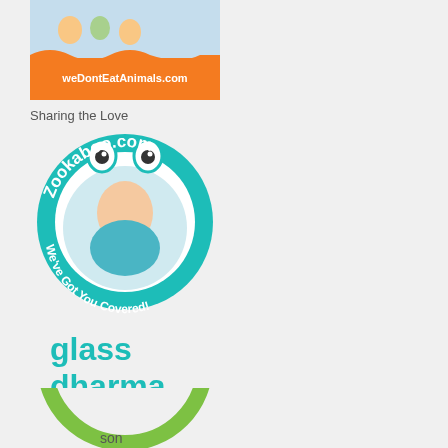[Figure (logo): weDontEatAnimals.com logo with illustrated characters above an orange banner with white text]
Sharing the Love
[Figure (logo): Zookaboo.com circular logo in teal/cyan with cartoon eyes, baby photo in center, text 'We've Got You Covered!' around the bottom]
[Figure (logo): Glass Dharma logo - 'glass dharma' in teal text above a teal rectangle reading 'the original glass straw']
[Figure (logo): Partial circular green logo at bottom, partially cropped]